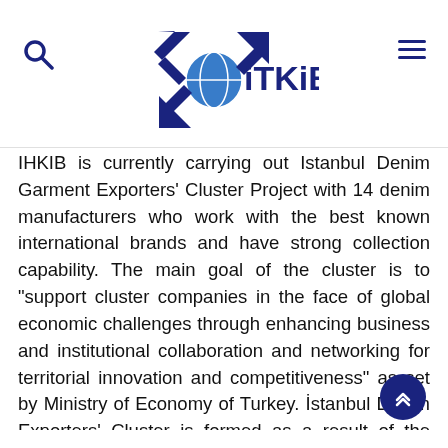iTKiB logo with search and menu icons
IHKIB is currently carrying out Istanbul Denim Garment Exporters' Cluster Project with 14 denim manufacturers who work with the best known international brands and have strong collection capability. The main goal of the cluster is to "support cluster companies in the face of global economic challenges through enhancing business and institutional collaboration and networking for territorial innovation and competitiveness" as set by Ministry of Economy of Turkey. İstanbul Denim Exporters' Cluster is formed as a result of the project called "Improving International Competitiveness of Turkish Denim Garment Sector (URGE)". This cluster based project is coordinated by IHKIB and funded by Ministry of Economy in Turkey with a vision to mobilize local dynamics to reinforce Turkish SMEs' sustainability on international trading environments.